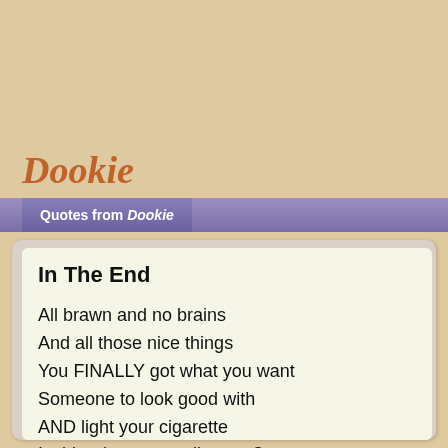Dookie
Quotes from Dookie
In The End

All brawn and no brains
And all those nice things
You FINALLY got what you want
Someone to look good with
AND light your cigarette
Is this what you really want?